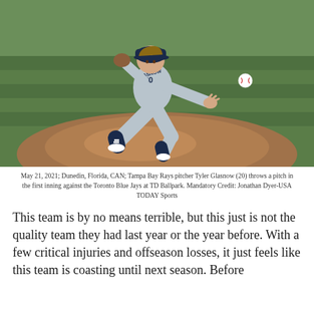[Figure (photo): Tampa Bay Rays pitcher Tyler Glasnow (20) in a pitching stance on the mound, throwing a pitch. He is wearing a grey Rays uniform with navy blue accents and a navy TB cap. A baseball is visible in the air. The background shows a baseball field with green grass and a reddish-brown dirt infield.]
May 21, 2021; Dunedin, Florida, CAN; Tampa Bay Rays pitcher Tyler Glasnow (20) throws a pitch in the first inning against the Toronto Blue Jays at TD Ballpark. Mandatory Credit: Jonathan Dyer-USA TODAY Sports
This team is by no means terrible, but this just is not the quality team they had last year or the year before. With a few critical injuries and offseason losses, it just feels like this team is coasting until next season. Before